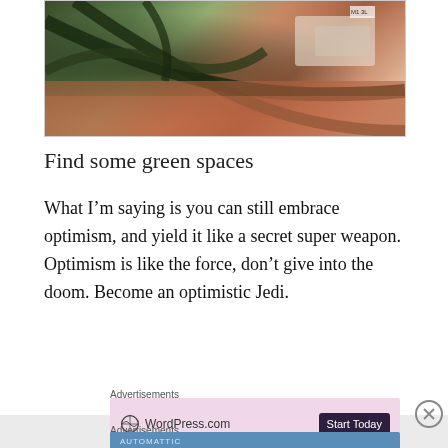[Figure (photo): Photo of bicycle frame with green metal bars in foreground, wet reddish pavement and vehicles in background]
Find some green spaces
What I’m saying is you can still embrace optimism, and yield it like a secret super weapon. Optimism is like the force, don’t give into the doom. Become an optimistic Jedi.
Advertisements
[Figure (screenshot): WordPress.com advertisement with pink background, WordPress logo, and Start Today button]
Advertisements
[Figure (screenshot): Automattic advertisement with blue background and text Love working again.]